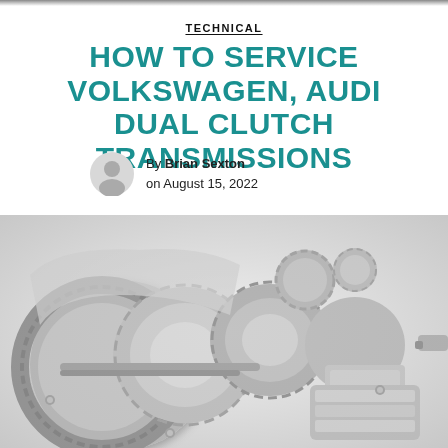TECHNICAL
HOW TO SERVICE VOLKSWAGEN, AUDI DUAL CLUTCH TRANSMISSIONS
By Brian Sexton on August 15, 2022
[Figure (photo): Cutaway/exploded view of a Volkswagen/Audi dual clutch transmission showing internal gears, shafts, clutch packs, and valve body components in metallic silver and grey tones.]